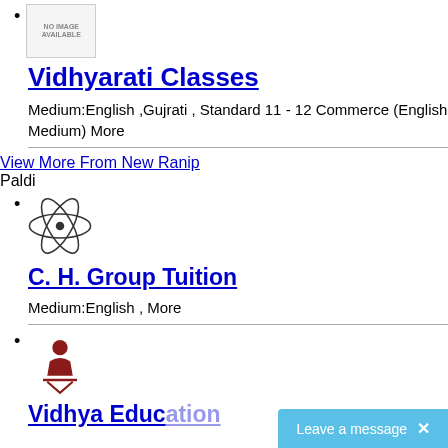[No Image Available placeholder]
Vidhyarati Classes
Medium:English ,Gujrati , Standard 11 - 12 Commerce (English Medium) More
View More From New Ranip
Paldi
[Atom icon]
C. H. Group Tuition
Medium:English , More
[Logo icon]
Vidhya Education...
Leave a message